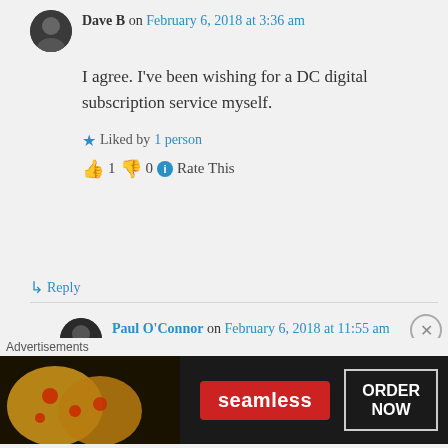Dave B on February 6, 2018 at 3:36 am
I agree. I've been wishing for a DC digital subscription service myself.
★ Liked by 1 person
👍 1 👎 0 ℹ Rate This
↳ Reply
Paul O'Connor on February 6, 2018 at 11:55 am
I talked to their digital editor
Advertisements
[Figure (photo): Seamless food delivery advertisement banner showing pizza and 'ORDER NOW' button]